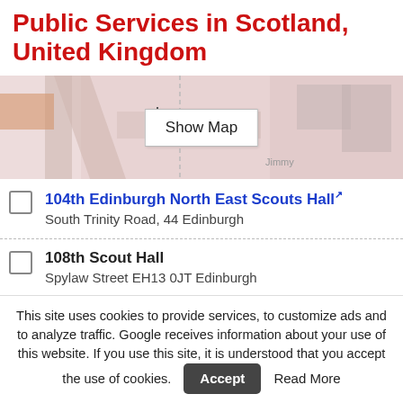Public Services in Scotland, United Kingdom
[Figure (map): A map thumbnail showing a street map area with a 'Show Map' button overlaid in the center.]
104th Edinburgh North East Scouts Hall
South Trinity Road, 44 Edinburgh
108th Scout Hall
Spylaw Street EH13 0JT Edinburgh
113th Glasgow (Burnside) Scout Group
Blairbeth Terrace
115th Fife Scout Group
Chapel Road
116 Glasgow Cubs and Scouts
Ashfield Road
Carolside Primary School
This site uses cookies to provide services, to customize ads and to analyze traffic. Google receives information about your use of this website. If you use this site, it is understood that you accept the use of cookies. Accept Read More